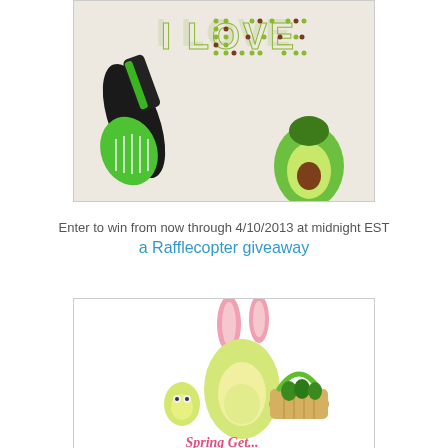[Figure (photo): Photo of avocado-themed items: a green avocado slicer tool on the left, and a white t-shirt or fabric with 'I LOVE' spelled out in avocado-pattern letters and an avocado illustration on the right.]
Enter to win from now through 4/10/2013 at midnight EST
a Rafflecopter giveaway
[Figure (photo): Photo of Easter-themed avocado plush toys: an avocado character wearing pink bunny ears, a small avocado character, and a basket filled with small avocados. Pink text at bottom reads 'Spring...']